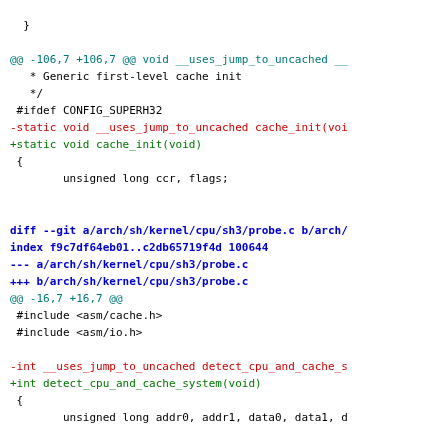Code diff showing changes to arch/sh/kernel/cpu cache init and probe files
[Figure (screenshot): Git diff output showing code changes in monospace font with color-coded lines: blue for diff headers, red for removed lines, green for added lines, black for context lines]